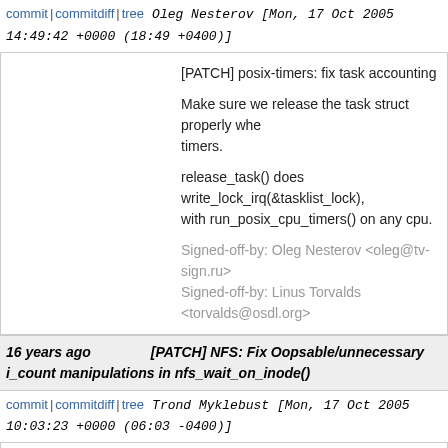commit | commitdiff | tree   Oleg Nesterov [Mon, 17 Oct 2005 14:49:42 +0000 (18:49 +0400)]
[PATCH] posix-timers: fix task accounting

Make sure we release the task struct properly whe... timers.

release_task() does write_lock_irq(&tasklist_lock),... with run_posix_cpu_timers() on any cpu.

Signed-off-by: Oleg Nesterov <oleg@tv-sign.ru>
Signed-off-by: Linus Torvalds <torvalds@osdl.org>
16 years ago   [PATCH] NFS: Fix Oopsable/unnecessary i_count manipulations in nfs_wait_on_inode()
commit | commitdiff | tree   Trond Myklebust [Mon, 17 Oct 2005 10:03:23 +0000 (06:03 -0400)]
[PATCH] NFS: Fix Oopsable/unnecessary i_count...

Oopsable since nfs_wait_on_inode() can get calle...

Unnecessary since the caller had better be damne... disappear from underneath it anyway.

Signed-off-by: Trond Myklebust